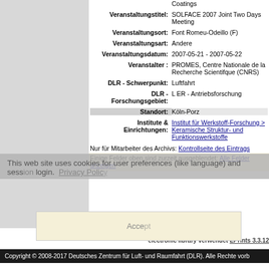Coatings
Veranstaltungstitel: SOLFACE 2007 Joint Two Days Meeting
Veranstaltungsort: Font Romeu-Odeillo (F)
Veranstaltungsart: Andere
Veranstaltungsdatum: 2007-05-21 - 2007-05-22
Veranstalter : PROMES, Centre Nationale de la Recherche Scientifque (CNRS)
DLR - Schwerpunkt: Luftfahrt
DLR - Forschungsgebiet: L ER - Antriebsforschung
Standort: Köln-Porz
Institute & Einrichtungen: Institut für Werkstoff-Forschung > Keramische Struktur- und Funktionswerkstoffe
Nur für Mitarbeiter des Archivs: Kontrollseite des Eintrags
Einige Felder oben sind zurzeit ausgeblendet: Alle Felder anzeigen
This web site uses cookies for user preferences (like language) and session login. Privacy Policy
Accept
electronic library verwendet EPrints 3.3.12
Copyright © 2008-2017 Deutsches Zentrum für Luft- und Raumfahrt (DLR). Alle Rechte vorb